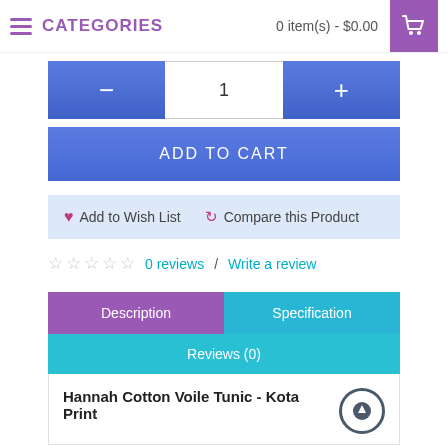CATEGORIES | 0 item(s) - $0.00
- 1 +
ADD TO CART
♥ Add to Wish List   ↻ Compare this Product
☆☆☆☆☆ 0 reviews / Write a review
Description | Specification | Reviews (0)
Hannah Cotton Voile Tunic - Kota Print